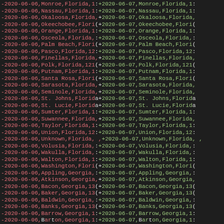Diff output of COVID-19 county-level data for Florida and Georgia counties, comparing 2020-06-06 and 2020-06-07 dates
[Figure (screenshot): Code diff view showing two columns of data. Left column shows lines prefixed with minus sign in red, right column shows lines prefixed with plus sign in green. Each line contains a date (2020-06-06 or 2020-06-07), county name, state name, and a number. Counties shown include Monroe through Barrow for Florida and Georgia states.]